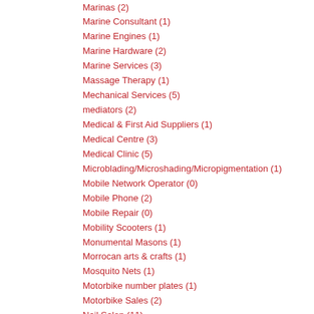Marinas (2)
Marine Consultant (1)
Marine Engines (1)
Marine Hardware (2)
Marine Services (3)
Massage Therapy (1)
Mechanical Services (5)
mediators (2)
Medical & First Aid Suppliers (1)
Medical Centre (3)
Medical Clinic (5)
Microblading/Microshading/Micropigmentation (1)
Mobile Network Operator (0)
Mobile Phone (2)
Mobile Repair (0)
Mobility Scooters (1)
Monumental Masons (1)
Morrocan arts & crafts (1)
Mosquito Nets (1)
Motorbike number plates (1)
Motorbike Sales (2)
Nail Salon (11)
Nails (1)